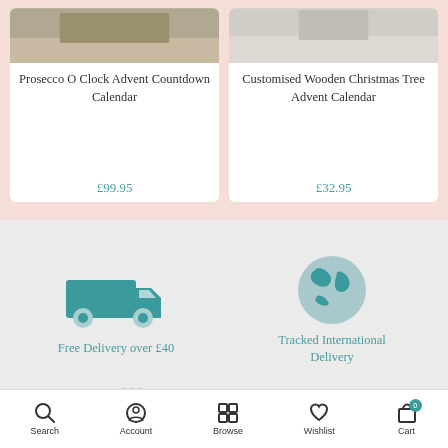[Figure (photo): Product image for Prosecco O Clock Advent Countdown Calendar]
Prosecco O Clock Advent Countdown Calendar
£99.95
[Figure (photo): Product image for Customised Wooden Christmas Tree Advent Calendar]
Customised Wooden Christmas Tree Advent Calendar
£32.95
[Figure (illustration): Teal delivery truck icon]
Free Delivery over £40
[Figure (illustration): Teal globe/world icon]
Tracked International Delivery
Search   Account   Browse   Wishlist   Cart